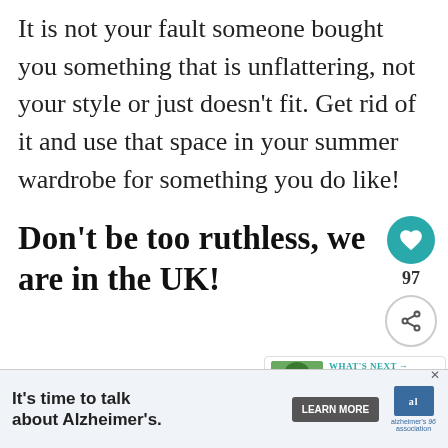It is not your fault someone bought you something that is unflattering, not your style or just doesn't fit. Get rid of it and use that space in your summer wardrobe for something you do like!
Don't be too ruthless, we are in the UK!
Are they suitable for the season? thinking that it is summer you only need short and shirts but you still need trousers to...
[Figure (other): What's Next box with garden image, label 'WHAT'S NEXT → Getting the Garden...']
[Figure (other): Alzheimer's Association advertisement banner: It's time to talk about Alzheimer's. Learn More button and Alzheimer's association logo.]